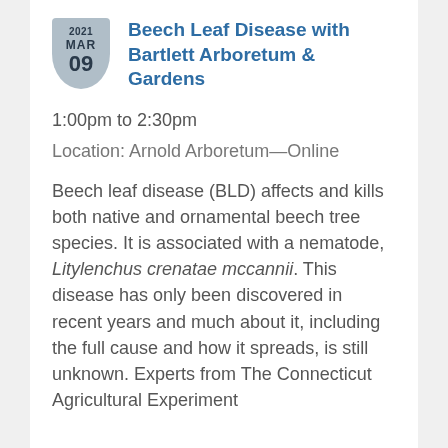Beech Leaf Disease with Bartlett Arboretum & Gardens
1:00pm to 2:30pm
Location: Arnold Arboretum—Online
Beech leaf disease (BLD) affects and kills both native and ornamental beech tree species. It is associated with a nematode, Litylenchus crenatae mccannii. This disease has only been discovered in recent years and much about it, including the full cause and how it spreads, is still unknown. Experts from The Connecticut Agricultural Experiment